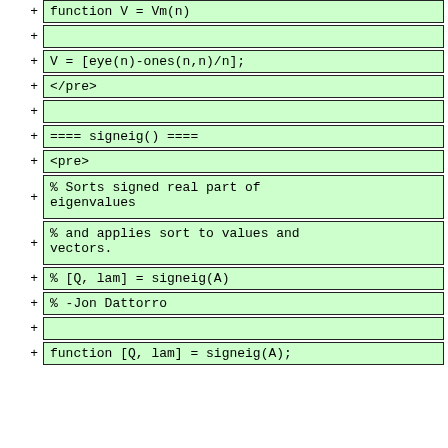+ function V = Vm(n)
+
+ V = [eye(n)-ones(n,n)/n];
+ </pre>
+
+ ==== signeig() ====
+ <pre>
+ % Sorts signed real part of eigenvalues
+ % and applies sort to values and vectors.
+ % [Q, lam] = signeig(A)
+ % -Jon Dattorro
+
+ function [Q, lam] = signeig(A);